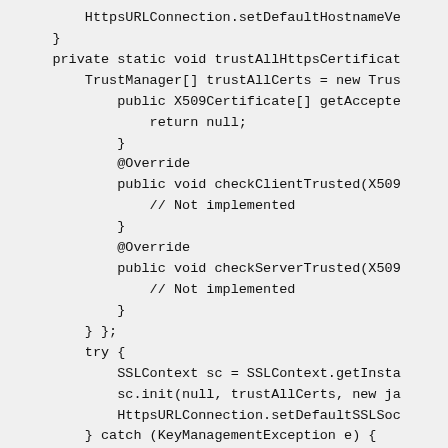[Figure (screenshot): Code snippet showing Java code with HttpsURLConnection, trustAllHttpsCertificates method, TrustManager array, X509Certificate, checkClientTrusted, checkServerTrusted, SSLContext, and catch block.]